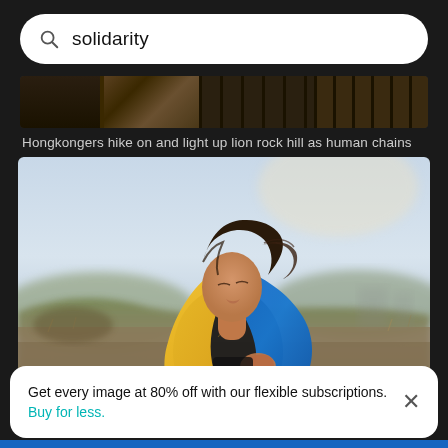solidarity
[Figure (screenshot): Thumbnail strip showing dark cityscape/night scene images]
Hongkongers hike on and light up lion rock hill as human chains form…
[Figure (photo): Young woman wrapped in a yellow and blue Ukrainian flag standing outdoors in a field, looking upward. Soft natural light, blurred background with hills and dry grass.]
Get every image at 80% off with our flexible subscriptions. Buy for less.